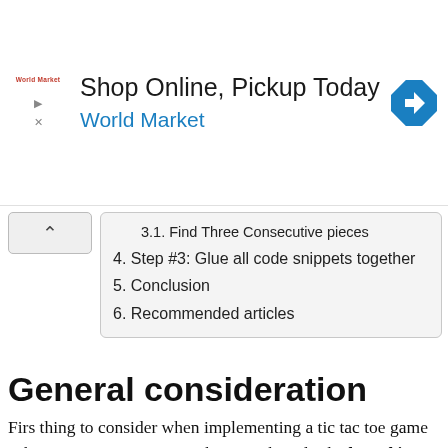[Figure (screenshot): Advertisement banner for World Market — 'Shop Online, Pickup Today' with World Market logo and blue navigation icon]
3.1. Find Three Consecutive pieces
4. Step #3: Glue all code snippets together
5. Conclusion
6. Recommended articles
General consideration
Firs thing to consider when implementing a tic tac toe game is how you want to present the game board. The board is basically a 2D array with 3 rows, and 3 cells each row. The